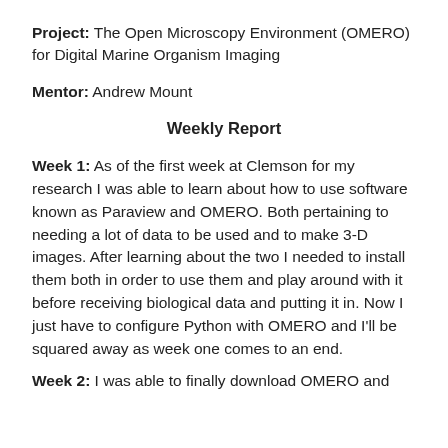Project: The Open Microscopy Environment (OMERO) for Digital Marine Organism Imaging
Mentor: Andrew Mount
Weekly Report
Week 1: As of the first week at Clemson for my research I was able to learn about how to use software known as Paraview and OMERO. Both pertaining to needing a lot of data to be used and to make 3-D images. After learning about the two I needed to install them both in order to use them and play around with it before receiving biological data and putting it in. Now I just have to configure Python with OMERO and I'll be squared away as week one comes to an end.
Week 2: I was able to finally download OMERO and